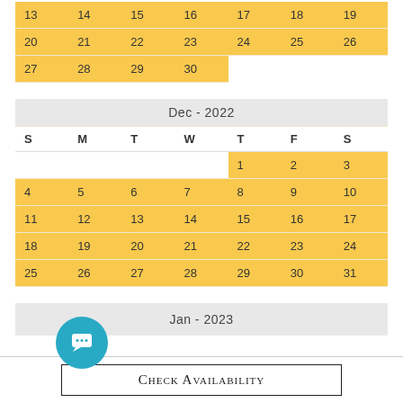| S | M | T | W | T | F | S |
| --- | --- | --- | --- | --- | --- | --- |
| 13 | 14 | 15 | 16 | 17 | 18 | 19 |
| 20 | 21 | 22 | 23 | 24 | 25 | 26 |
| 27 | 28 | 29 | 30 |  |  |  |
| S | M | T | W | T | F | S |
| --- | --- | --- | --- | --- | --- | --- |
|  |  |  |  | 1 | 2 | 3 |
| 4 | 5 | 6 | 7 | 8 | 9 | 10 |
| 11 | 12 | 13 | 14 | 15 | 16 | 17 |
| 18 | 19 | 20 | 21 | 22 | 23 | 24 |
| 25 | 26 | 27 | 28 | 29 | 30 | 31 |
Check Availability